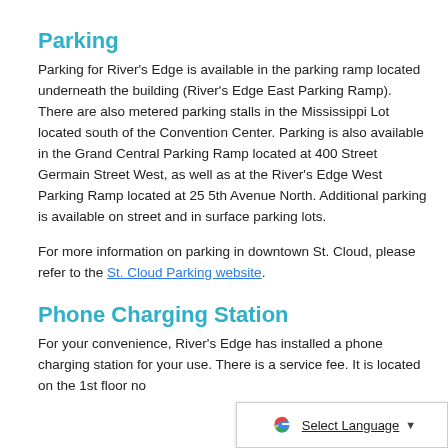Parking
Parking for River's Edge is available in the parking ramp located underneath the building (River's Edge East Parking Ramp). There are also metered parking stalls in the Mississippi Lot located south of the Convention Center. Parking is also available in the Grand Central Parking Ramp located at 400 Street Germain Street West, as well as at the River's Edge West Parking Ramp located at 25 5th Avenue North. Additional parking is available on street and in surface parking lots.
For more information on parking in downtown St. Cloud, please refer to the St. Cloud Parking website.
Phone Charging Station
For your convenience, River's Edge has installed a phone charging station for your use. There is a service fee. It is located on the 1st floor no...